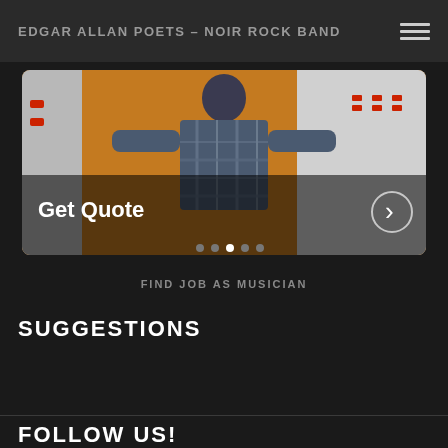EDGAR ALLAN POETS – NOIR ROCK BAND
[Figure (photo): A banner advertisement showing a person in a plaid shirt standing between trucks with an orange background. Text overlay reads 'Get Quote' with a right arrow button. Navigation dots visible at the bottom of the banner.]
FIND JOB AS MUSICIAN
SUGGESTIONS
FOLLOW US!